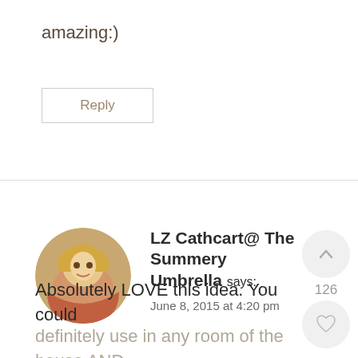amazing:)
Reply
LZ Cathcart@ The Summery Umbrella says:
June 8, 2015 at 4:20 pm
Absolutely LOVE this idea. You could
definitely use in any room of the house AND